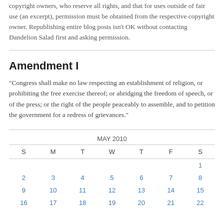copyright owners, who reserve all rights, and that for uses outside of fair use (an excerpt), permission must be obtained from the respective copyright owner. Republishing entire blog posts isn't OK without contacting Dandelion Salad first and asking permission.
Amendment I
"Congress shall make no law respecting an establishment of religion, or prohibiting the free exercise thereof; or abridging the freedom of speech, or of the press; or the right of the people peaceably to assemble, and to petition the government for a redress of grievances."
| S | M | T | W | T | F | S |
| --- | --- | --- | --- | --- | --- | --- |
|  |  |  |  |  |  | 1 |
| 2 | 3 | 4 | 5 | 6 | 7 | 8 |
| 9 | 10 | 11 | 12 | 13 | 14 | 15 |
| 16 | 17 | 18 | 19 | 20 | 21 | 22 |